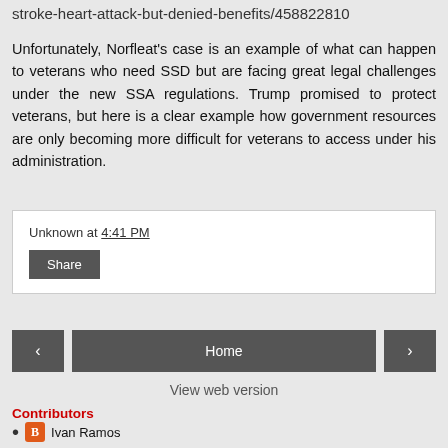stroke-heart-attack-but-denied-benefits/458822810
Unfortunately, Norfleat's case is an example of what can happen to veterans who need SSD but are facing great legal challenges under the new SSA regulations. Trump promised to protect veterans, but here is a clear example how government resources are only becoming more difficult for veterans to access under his administration.
Unknown at 4:41 PM
Share
Home
View web version
Contributors
Ivan Ramos